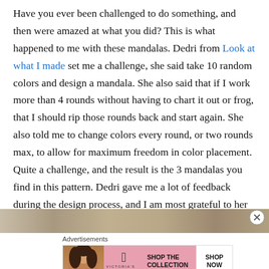Have you ever been challenged to do something, and then were amazed at what you did? This is what happened to me with these mandalas. Dedri from Look at what I made set me a challenge, she said take 10 random colors and design a mandala. She also said that if I work more than 4 rounds without having to chart it out or frog, that I should rip those rounds back and start again. She also told me to change colors every round, or two rounds max, to allow for maximum freedom in color placement. Quite a challenge, and the result is the 3 mandalas you find in this pattern. Dedri gave me a lot of feedback during the design process, and I am most grateful to her for her help.
[Figure (photo): Partial view of an image strip at the bottom of the main content area, appearing to show a sandy or stone surface]
Advertisements
[Figure (photo): Victoria's Secret advertisement banner showing a woman with curly hair, the VS logo, text 'SHOP THE COLLECTION' and a 'SHOP NOW' button]